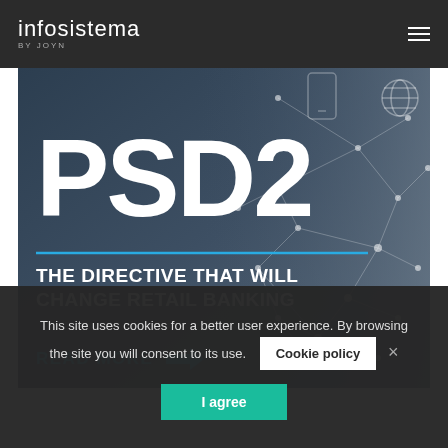infosistema by JOYN
[Figure (illustration): PSD2 banner with dark blue-grey background, large white bold text reading 'PSD2', a cyan horizontal rule, subtitle 'THE DIRECTIVE THAT WILL CHANGE RETAIL BANKING', 'READ MORE' link with arrow, and a network connectivity graphic on the right side with icons of a mobile phone and globe]
This site uses cookies for a better user experience. By browsing the site you will consent to its use.
Cookie policy
I agree